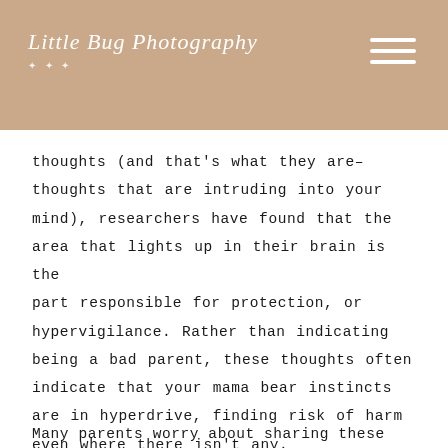Little Bug Photography
thoughts (and that's what they are– thoughts that are intruding into your mind), researchers have found that the area that lights up in their brain is the part responsible for protection, or hypervigilance. Rather than indicating being a bad parent, these thoughts often indicate that your mama bear instincts are in hyperdrive, finding risk of harm even where there isn't any.
Many parents worry about sharing these